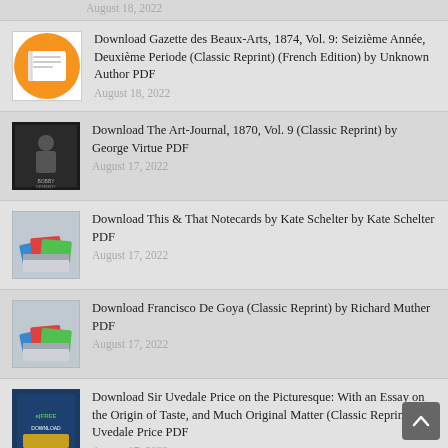Download Gazette des Beaux-Arts, 1874, Vol. 9: Seizième Année, Deuxième Periode (Classic Reprint) (French Edition) by Unknown Author PDF
August 18, 2022
Download The Art-Journal, 1870, Vol. 9 (Classic Reprint) by George Virtue PDF
August 17, 2022
Download This & That Notecards by Kate Schelter by Kate Schelter PDF
August 17, 2022
Download Francisco De Goya (Classic Reprint) by Richard Muther PDF
August 17, 2022
Download Sir Uvedale Price on the Picturesque: With an Essay on the Origin of Taste, and Much Original Matter (Classic Reprint) by Uvedale Price PDF
August 17, 2022
Download Second Exhibition Catalogue of a Loan Collection of Paintings of the English, Old Dutch, Modern Dutch, French, and